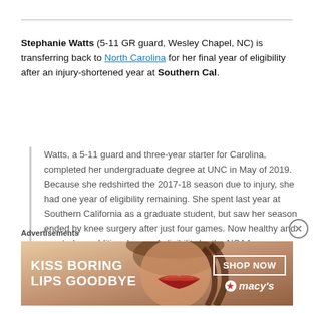Stephanie Watts (5-11 GR guard, Wesley Chapel, NC) is transferring back to North Carolina for her final year of eligibility after an injury-shortened year at Southern Cal.
Watts, a 5-11 guard and three-year starter for Carolina, completed her undergraduate degree at UNC in May of 2019. Because she redshirted the 2017-18 season due to injury, she had one year of eligibility remaining. She spent last year at Southern California as a graduate student, but saw her season ended by knee surgery after just four games. Now healthy and granted an additional year of eligibility by the NCAA,
Advertisements
[Figure (photo): Advertisement banner: Kiss Boring Lips Goodbye - Macy's Shop Now ad with woman's face showing red lips]